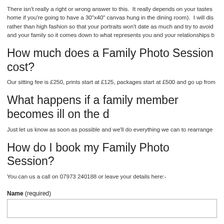There isn't really a right or wrong answer to this. It really depends on your tastes home if you're going to have a 30"x40" canvas hung in the dining room). I will dis rather than high fashion so that your portraits won't date as much and try to avoid and your family so it comes down to what represents you and your relationships b
How much does a Family Photo Session cost?
Our sitting fee is £250, prints start at £125, packages start at £500 and go up from
What happens if a family member becomes ill on the d
Just let us know as soon as possible and we'll do everything we can to rearrange
How do I book my Family Photo Session?
You can us a call on 07973 240188 or leave your details here:-
Name (required)
Email (required)